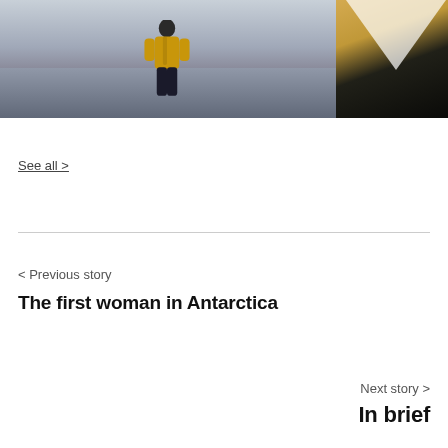[Figure (photo): Two photos side by side: left shows a person in a yellow jacket standing on snowy/rocky terrain in Antarctica; right shows a partial view of what appears to be equipment or furniture in warm tones.]
See all >
< Previous story
The first woman in Antarctica
Next story >
In brief